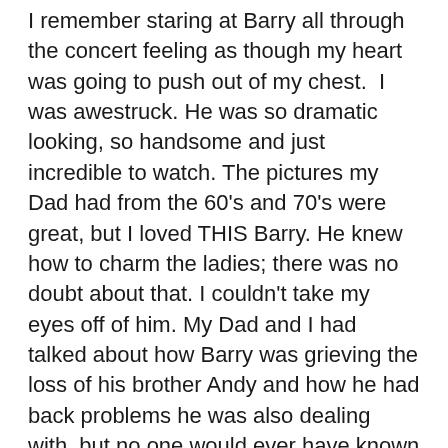I remember staring at Barry all through the concert feeling as though my heart was going to push out of my chest. I was awestruck. He was so dramatic looking, so handsome and just incredible to watch. The pictures my Dad had from the 60's and 70's were great, but I loved THIS Barry. He knew how to charm the ladies; there was no doubt about that. I couldn't take my eyes off of him. My Dad and I had talked about how Barry was grieving the loss of his brother Andy and how he had back problems he was also dealing with, but no one would ever have known he was in pain on that stage. He commanded every one of the thousands of people in that audience like he had hypnotized them. I hung on every note. I thought “Too Much Heaven” sounded like three angels were singing just for me. To say I became a fan is an understatement. My Dad went back to the 60's with Barry, and he was psyched that I listened to the Bee Gees' music with him. “Words”,